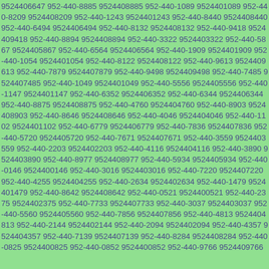9524406647 952-440-8885 9524408885 952-440-1089 9524401089 952-440-8209 9524408209 952-440-1243 9524401243 952-440-8440 9524408440 952-440-6494 9524406494 952-440-8132 9524408132 952-440-9418 9524409418 952-440-8894 9524408894 952-440-3322 9524403322 952-440-5867 9524405867 952-440-6564 9524406564 952-440-1909 9524401909 952-440-1054 9524401054 952-440-8122 9524408122 952-440-9613 9524409613 952-440-7879 9524407879 952-440-9498 9524409498 952-440-7485 9524407485 952-440-1049 9524401049 952-440-5556 9524405556 952-440-1147 9524401147 952-440-6352 9524406352 952-440-6344 9524406344 952-440-8875 9524408875 952-440-4760 9524404760 952-440-8903 9524408903 952-440-8646 9524408646 952-440-4046 9524404046 952-440-1102 9524401102 952-440-6779 9524406779 952-440-7836 9524407836 952-440-5720 9524405720 952-440-7671 9524407671 952-440-3559 9524403559 952-440-2203 9524402203 952-440-4116 9524404116 952-440-3890 9524403890 952-440-8977 9524408977 952-440-5934 9524405934 952-440-0146 9524400146 952-440-3016 9524403016 952-440-7220 9524407220 952-440-4255 9524404255 952-440-2634 9524402634 952-440-1479 9524401479 952-440-8642 9524408642 952-440-0521 9524400521 952-440-2375 9524402375 952-440-7733 9524407733 952-440-3037 9524403037 952-440-5560 9524405560 952-440-7856 9524407856 952-440-4813 9524404813 952-440-2144 9524402144 952-440-2094 9524402094 952-440-4357 9524404357 952-440-7139 9524407139 952-440-8284 9524408284 952-440-0825 9524400825 952-440-0852 9524400852 952-440-9766 9524409766